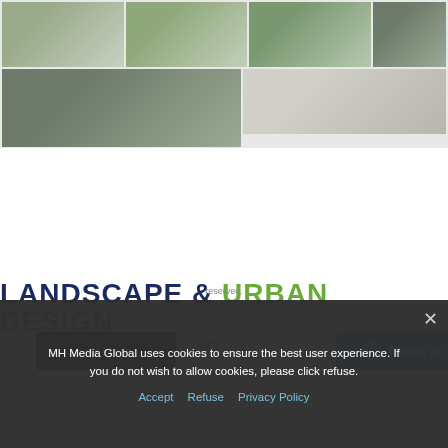[Figure (screenshot): Instagram photo grid showing landscape and urban design related images — green foliage, buildings, documents]
Load More...
Follow on Instagram
LANDSCAPE & URBAN DESIGN
[Figure (other): Social media icons (Twitter and Facebook)]
reserved.
MH Media Global uses cookies to ensure the best user experience. If you do not wish to allow cookies, please click refuse.
Accept   Refuse   Privacy Policy